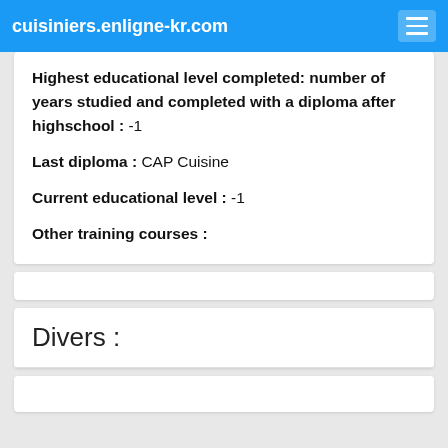cuisiniers.enligne-kr.com
Highest educational level completed: number of years studied and completed with a diploma after highschool : -1
Last diploma : CAP Cuisine
Current educational level : -1
Other training courses :
Divers :